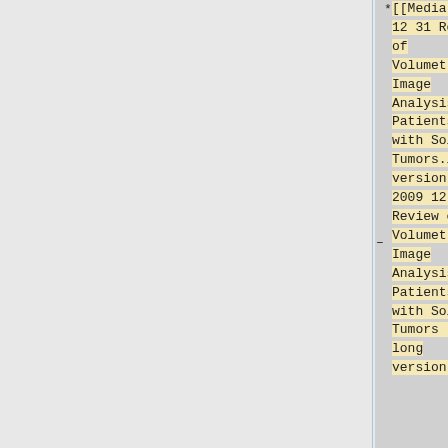* [[Media:2009 12 31 Review of Volumetric Image Analysis in Patients with Solid Tumors.long version.doc|2009 12 31 Review of Volumetric Image Analysis in Patients with Solid Tumors - long version]]